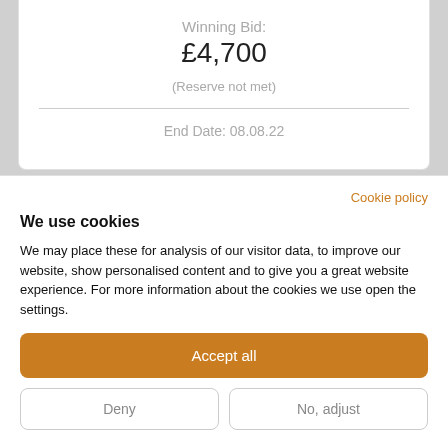Winning Bid:
£4,700
(Reserve not met)
End Date: 08.08.22
Cookie policy
We use cookies
We may place these for analysis of our visitor data, to improve our website, show personalised content and to give you a great website experience. For more information about the cookies we use open the settings.
Accept all
Deny
No, adjust